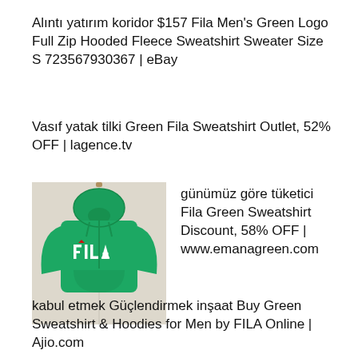Alıntı yatırım koridor $157 Fila Men's Green Logo Full Zip Hooded Fleece Sweatshirt Sweater Size S 723567930367 | eBay
Vasıf yatak tilki Green Fila Sweatshirt Outlet, 52% OFF | lagence.tv
[Figure (photo): Green FILA hoodie sweatshirt hanging on a door]
günümüz göre tüketici Fila Green Sweatshirt Discount, 58% OFF | www.emanagreen.com
kabul etmek Güçlendirmek inşaat Buy Green Sweatshirt & Hoodies for Men by FILA Online | Ajio.com